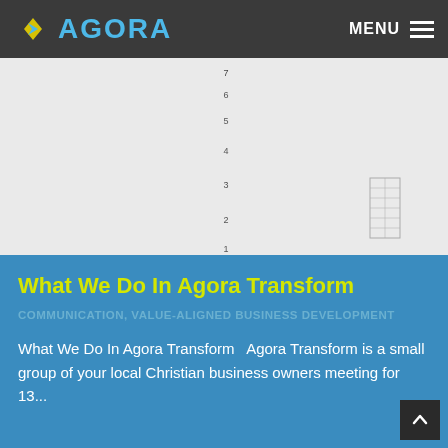AGORA — MENU
[Figure (photo): Black and white shooting target with concentric rings numbered 1 through 8, photographed from below/angle showing center bullseye at top]
What We Do In Agora Transform
COMMUNICATION, VALUE-ALIGNED BUSINESS DEVELOPMENT
What We Do In Agora Transform   Agora Transform is a small group of your local Christian business owners meeting for 13...